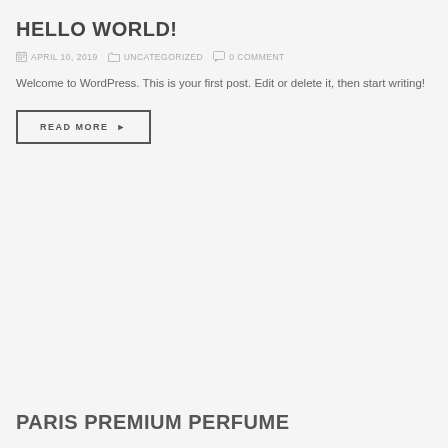HELLO WORLD!
APRIL 10, 2019   UNCATEGORIZED   0 COMMENT
Welcome to WordPress. This is your first post. Edit or delete it, then start writing!
READ MORE ▶
PARIS PREMIUM PERFUME